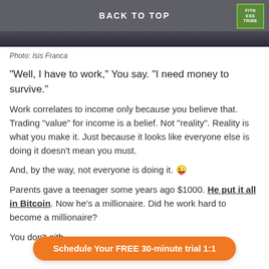BACK TO TOP
[Figure (photo): Dark top portion of a photo, partially cropped]
Photo: Isis Franca
“Well, I have to work,” You say.  “I need money to survive.”
Work correlates to income only because you believe that. Trading “value” for income is a belief. Not “reality”. Reality is what you make it. Just because it looks like everyone else is doing it doesn’t mean you must.
And, by the way, not everyone is doing it. 😜
Parents gave a teenager some years ago $1000. He put it all in Bitcoin. Now he’s a millionaire. Did he work hard to become a millionaire?
You don’t eith…
Schedule Your FREE 30-minute trial 1:1